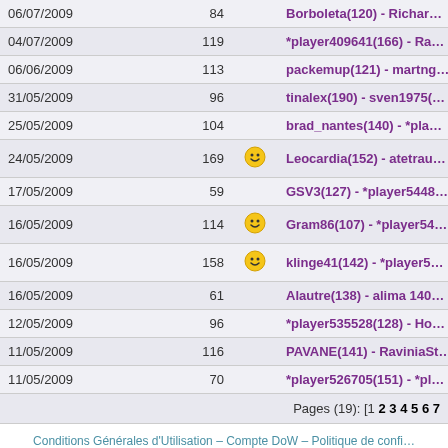| Date | Score |  | Players |
| --- | --- | --- | --- |
| 06/07/2009 | 84 |  | Borboleta(120) - Richar... |
| 04/07/2009 | 119 |  | *player409641(166) - Ra... |
| 06/06/2009 | 113 |  | packemup(121) - martng... |
| 31/05/2009 | 96 |  | tinalex(190) - sven1975(... |
| 25/05/2009 | 104 |  | brad_nantes(140) - *pla... |
| 24/05/2009 | 169 | ☺ | Leocardia(152) - atetrau... |
| 17/05/2009 | 59 |  | GSV3(127) - *player5448... |
| 16/05/2009 | 114 | ☺ | Gram86(107) - *player54... |
| 16/05/2009 | 158 | ☺ | klinge41(142) - *player5... |
| 16/05/2009 | 61 |  | Alautre(138) - alima 140... |
| 12/05/2009 | 96 |  | *player535528(128) - Ho... |
| 11/05/2009 | 116 |  | PAVANE(141) - RaviniaSt... |
| 11/05/2009 | 70 |  | *player526705(151) - *pl... |
Pages (19): [1 2 3 4 5 6 7 ...
Conditions Générales d'Utilisation – Compte DoW – Politique de confi... Copyright ©2002-...